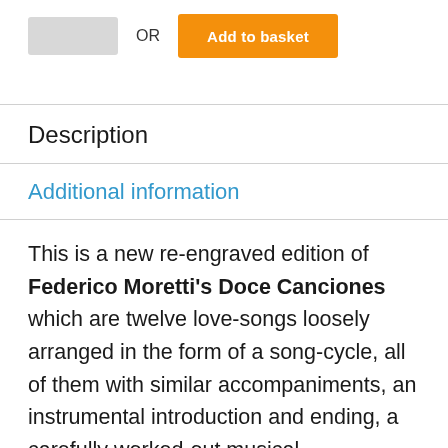[Figure (screenshot): Top section showing quantity box, OR text, and orange Add to basket button]
Description
Additional information
This is a new re-engraved edition of Federico Moretti's Doce Canciones which are twelve love-songs loosely arranged in the form of a song-cycle, all of them with similar accompaniments, an instrumental introduction and ending, a carefully worked-out musical